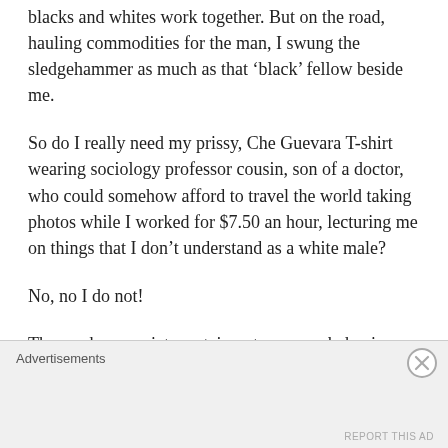blacks and whites work together. But on the road, hauling commodities for the man, I swung the sledgehammer as much as that ‘black’ fellow beside me.
So do I really need my prissy, Che Guevara T-shirt wearing sociology professor cousin, son of a doctor, who could somehow afford to travel the world taking photos while I worked for $7.50 an hour, lecturing me on things that I don’t understand as a white male?
No, no I do not!
Those who associate certain outcomes or behaviors with certain colors of skin, who only ever see skin color in their analysis, are the
Advertisements